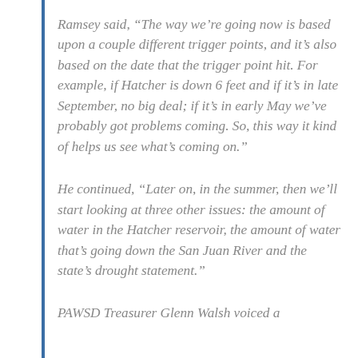Ramsey said, “The way we’re going now is based upon a couple different trigger points, and it’s also based on the date that the trigger point hit. For example, if Hatcher is down 6 feet and if it’s in late September, no big deal; if it’s in early May we’ve probably got problems coming. So, this way it kind of helps us see what’s coming on.”
He continued, “Later on, in the summer, then we’ll start looking at three other issues: the amount of water in the Hatcher reservoir, the amount of water that’s going down the San Juan River and the state’s drought statement.”
PAWSD Treasurer Glenn Walsh voiced a